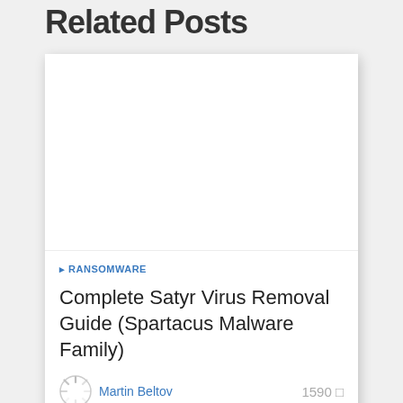Related Posts
[Figure (screenshot): Blank white card image placeholder for a related post thumbnail]
RANSOMWARE
Complete Satyr Virus Removal Guide (Spartacus Malware Family)
Martin Beltov   1590